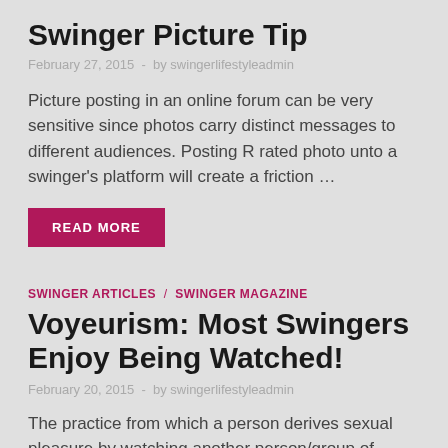Swinger Picture Tip
February 27, 2015  -  by swingerlifestyleadmin
Picture posting in an online forum can be very sensitive since photos carry distinct messages to different audiences. Posting R rated photo unto a swinger's platform will create a friction …
READ MORE
SWINGER ARTICLES / SWINGER MAGAZINE
Voyeurism: Most Swingers Enjoy Being Watched!
February 20, 2015  -  by swingerlifestyleadmin
The practice from which a person derives sexual pleasure by watching another person/group of people having sex is known as voyeurism. The attention of the voyeur may be